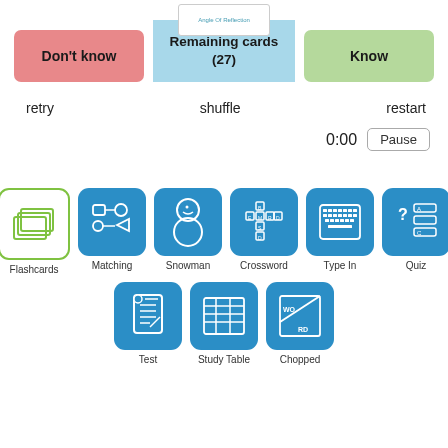[Figure (screenshot): Flashcard app interface showing Don't know / Remaining cards (27) / Know buttons, retry/shuffle/restart controls, timer 0:00 with Pause button, and study mode icons: Flashcards, Matching, Snowman, Crossword, Type In, Quiz, Test, Study Table, Chopped]
Angle Of Reflection
Don't know
Remaining cards (27)
Know
retry
shuffle
restart
0:00
Pause
Flashcards
Matching
Snowman
Crossword
Type In
Quiz
Test
Study Table
Chopped